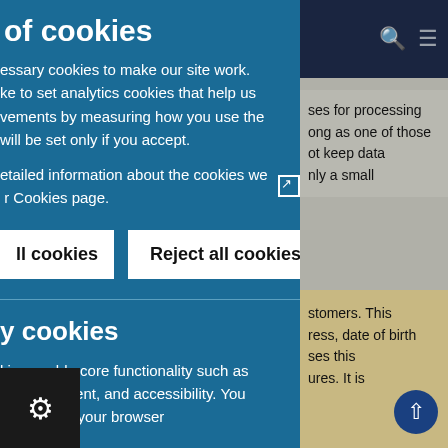of cookies
essary cookies to make our site work. ke to set analytics cookies that help us vements by measuring how you use the will be set only if you accept.
etailed information about the cookies we r Cookies page.
ll cookies
Reject all cookies
y cookies
kies enable core functionality such as management, and accessibility. You changing your browser
ses for processing ong as one of those ot keep data nly a small
stomers. This ress, date of birth ses this ures. It is